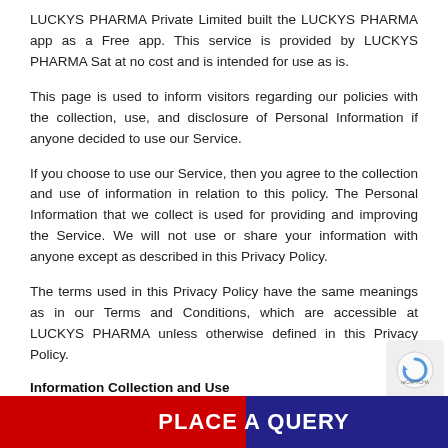LUCKYS PHARMA Private Limited built the LUCKYS PHARMA app as a Free app. This service is provided by LUCKYS PHARMA Sat at no cost and is intended for use as is.
This page is used to inform visitors regarding our policies with the collection, use, and disclosure of Personal Information if anyone decided to use our Service.
If you choose to use our Service, then you agree to the collection and use of information in relation to this policy. The Personal Information that we collect is used for providing and improving the Service. We will not use or share your information with anyone except as described in this Privacy Policy.
The terms used in this Privacy Policy have the same meanings as in our Terms and Conditions, which are accessible at LUCKYS PHARMA unless otherwise defined in this Privacy Policy.
Information Collection and Use
For a better experience, while using our Service, we may require you to provide us with certain personally identifiable information, including but not limited to Plot no- 82, 1st Floor, Jaora Compound, Near Police Lines, Indore – 452001, Madhya Pradesh, India. The information that we... described in this priva...